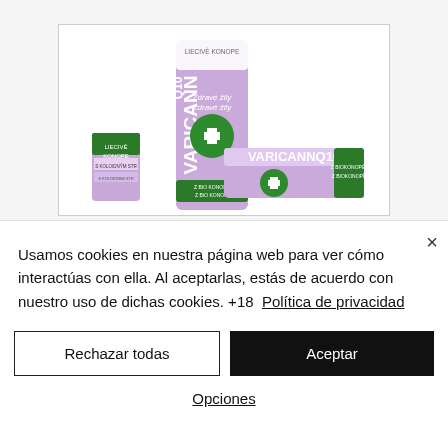[Figure (photo): Product photo of VARICANN Q10 cream tubes (purple and white packaging with green cross logo and 'Z BIOKONOPÍ' label), shown in a white bordered box on a light grey background.]
Usamos cookies en nuestra página web para ver cómo interactúas con ella. Al aceptarlas, estás de acuerdo con nuestro uso de dichas cookies. +18  Política de privacidad
Rechazar todas
Aceptar
Opciones